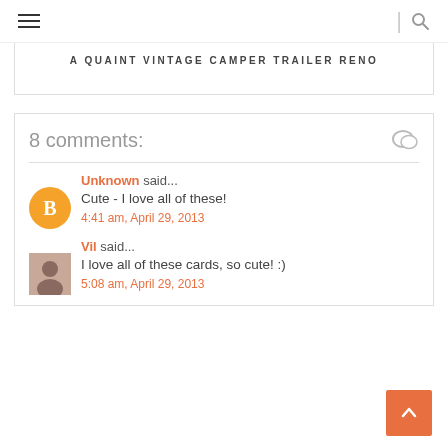≡  |  🔍
A QUAINT VINTAGE CAMPER TRAILER RENO
8 comments:
Unknown said...
Cute - I love all of these!
4:41 am, April 29, 2013
Vil said...
I love all of these cards, so cute! :)
5:08 am, April 29, 2013